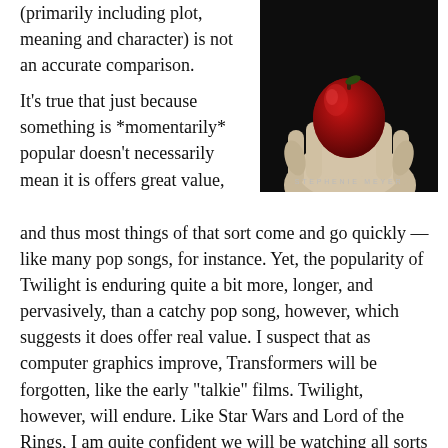(primarily including plot, meaning and character) is not an accurate comparison.
[Figure (illustration): Book cover of Twilight by Stephenie Meyer — black background with pale hands holding a red apple, author name at bottom in spaced caps]
It’s true that just because something is *momentarily* popular doesn’t necessarily mean it is offers great value, and thus most things of that sort come and go quickly — like many pop songs, for instance.  Yet, the popularity of Twilight is enduring quite a bit more, longer, and pervasively, than a catchy pop song, however, which suggests it does offer real value.  I suspect that as computer graphics improve, Transformers will be forgotten, like the early “talkie” films.  Twilight, however, will endure.  Like Star Wars and Lord of the Rings, I am quite confident we will be watching all sorts of Twilight-branded entertainments into the far future.